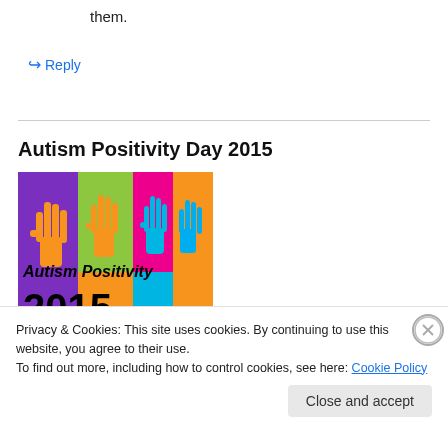them.
↪ Reply
Autism Positivity Day 2015
[Figure (illustration): Colorful poster with raised hands in purple, green, orange, and teal sections. Text reads 'Autism Positivity 2015'.]
Privacy & Cookies: This site uses cookies. By continuing to use this website, you agree to their use.
To find out more, including how to control cookies, see here: Cookie Policy
Close and accept